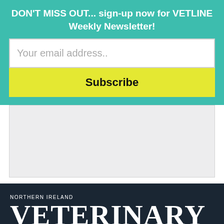DON'T MISS OUT... sign-up now for VETLINE Weekly Newsletter!
Your email address..
Subscribe
[Figure (other): Empty grey placeholder area]
NORTHERN IRELAND
VETERINARY TODAY
Copyright © NI Veterinary Today.